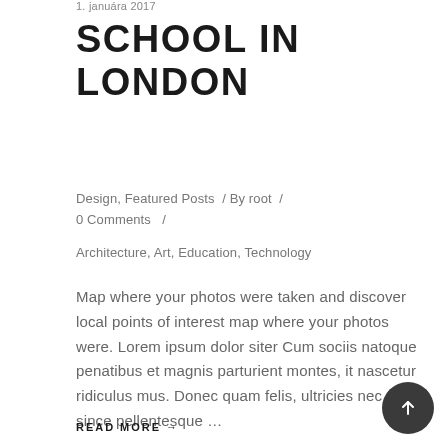1. januára 2017
SCHOOL IN LONDON
Design, Featured Posts  /  By root  /  0 Comments  /
Architecture, Art, Education, Technology
Map where your photos were taken and discover local points of interest map where your photos were. Lorem ipsum dolor siter Cum sociis natoque penatibus et magnis parturient montes, it nascetur ridiculus mus. Donec quam felis, ultricies nec, since pellentesque …
READ MORE →